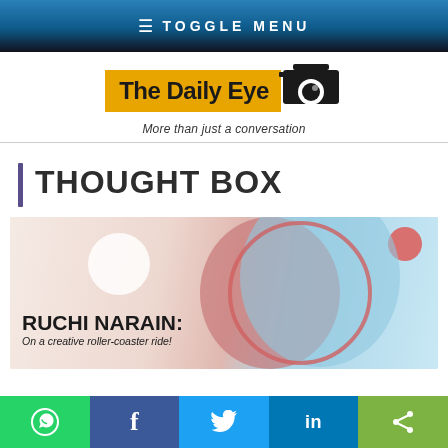≡ TOGGLE MENU
[Figure (logo): The Daily Eye logo with camera icon and tagline 'More than just a conversation']
THOUGHT BOX
[Figure (illustration): Article thumbnail image: split face illustration with text 'RUCHI NARAIN: On a creative roller-coaster ride!']
Social share bar: WhatsApp, Facebook, Twitter, LinkedIn, Share